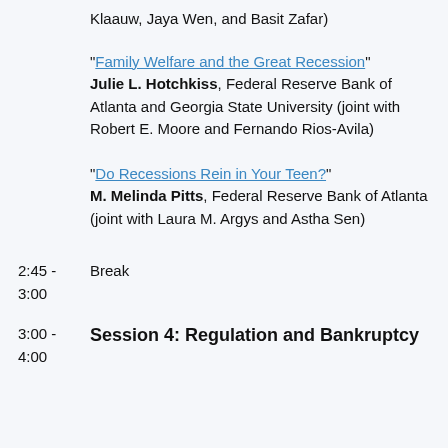Klaauw, Jaya Wen, and Basit Zafar)
"Family Welfare and the Great Recession" Julie L. Hotchkiss, Federal Reserve Bank of Atlanta and Georgia State University (joint with Robert E. Moore and Fernando Rios-Avila)
"Do Recessions Rein in Your Teen?" M. Melinda Pitts, Federal Reserve Bank of Atlanta (joint with Laura M. Argys and Astha Sen)
2:45 - 3:00   Break
3:00 - 4:00   Session 4: Regulation and Bankruptcy